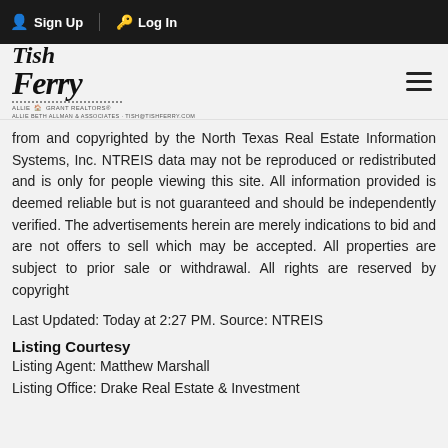Sign Up  Log In
[Figure (logo): Tish Ferry real estate agent logo with cursive text and dotted underline, affiliated with Allie Beth Allman & Associates Realtors]
from and copyrighted by the North Texas Real Estate Information Systems, Inc. NTREIS data may not be reproduced or redistributed and is only for people viewing this site. All information provided is deemed reliable but is not guaranteed and should be independently verified. The advertisements herein are merely indications to bid and are not offers to sell which may be accepted. All properties are subject to prior sale or withdrawal. All rights are reserved by copyright
Last Updated: Today at 2:27 PM. Source: NTREIS
Listing Courtesy
Listing Agent: Matthew Marshall
Listing Office: Drake Real Estate & Investment